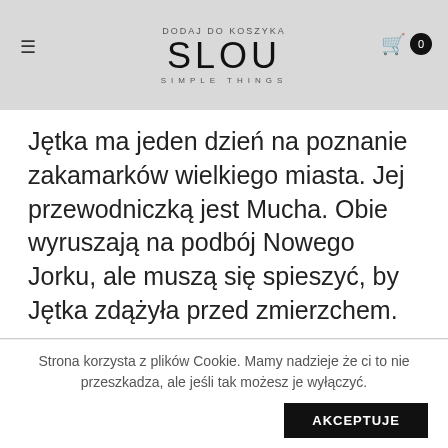DODAJ DO KOSZYKA
SLOU
SIMPLE THINGS
Jętka ma jeden dzień na poznanie zakamarków wielkiego miasta. Jej przewodniczką jest Mucha. Obie wyruszają na podbój Nowego Jorku, ale muszą się spieszyć, by Jętka zdążyła przed zmierzchem.
Strona korzysta z plików Cookie. Mamy nadzieje że ci to nie przeszkadza, ale jeśli tak możesz je wyłączyć. AKCEPTUJE